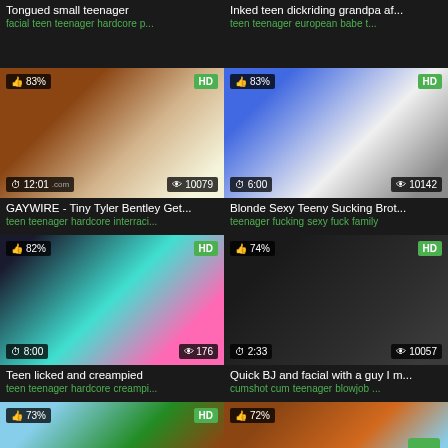Tongued small teenager
facial teen teenager hardcore p...
Inked teen dickriding grandpa af...
teen teenager european babe t...
[Figure (photo): Video thumbnail 83% HD 12:01 10079 views - GAYWIRE Tiny Tyler Bentley Get...]
GAYWIRE - Tiny Tyler Bentley Get...
teen teenager hardcore interraci...
[Figure (photo): Video thumbnail 83% HD 6:00 10142 views - Blonde Sexy Teeny Sucking Brot...]
Blonde Sexy Teeny Sucking Brot...
teenager fucking sexy fuck family
[Figure (photo): Video thumbnail 82% HD 8:00 176 views - Teen licked and creampied]
Teen licked and creampied
teen teenager hardcore creampi...
[Figure (photo): Video thumbnail 74% HD 2:33 10057 views - Quick BJ and facial with a guy I m...]
Quick BJ and facial with a guy I m...
cumshot cum teenager blowjob ...
[Figure (photo): Video thumbnail 73% HD - partial bottom row]
[Figure (photo): Video thumbnail 72% - partial bottom row]